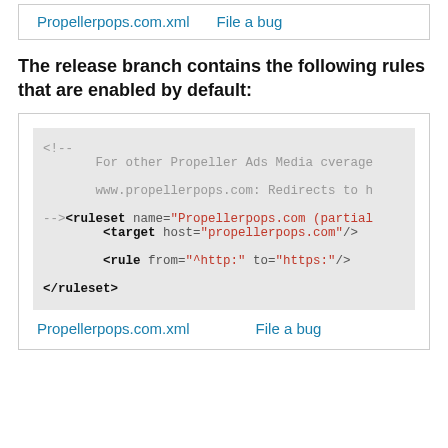Propellerpops.com.xml   File a bug
The release branch contains the following rules that are enabled by default:
[Figure (screenshot): Code block showing XML ruleset for Propellerpops.com with comment, target host, rule, and closing ruleset tags]
Propellerpops.com.xml   File a bug